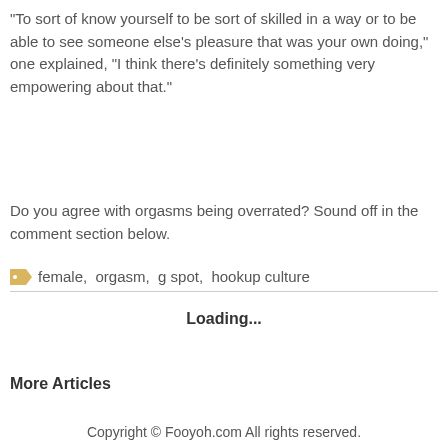"To sort of know yourself to be sort of skilled in a way or to be able to see someone else's pleasure that was your own doing," one explained, "I think there's definitely something very empowering about that."
Do you agree with orgasms being overrated? Sound off in the comment section below.
female,  orgasm,  g spot,  hookup culture
Loading...
More Articles
Copyright © Fooyoh.com All rights reserved.